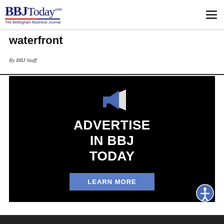BBJToday.com — The Bellingham Business Journal
waterfront
By BBJ Staff
[Figure (infographic): Advertisement banner on black background with megaphone icon and white bold text reading ADVERTISE IN BBJ TODAY with a blue LEARN MORE button]